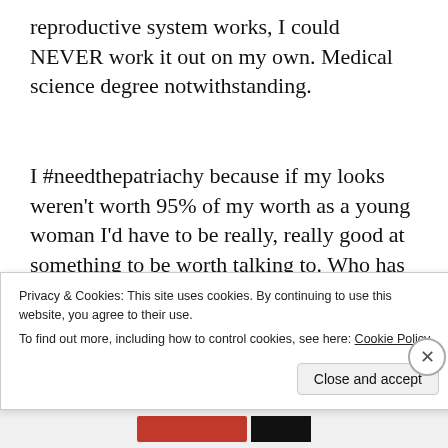reproductive system works, I could NEVER work it out on my own. Medical science degree notwithstanding.
I #needthepatriachy because if my looks weren't worth 95% of my worth as a young woman I'd have to be really, really good at something to be worth talking to. Who has time for that?
Privacy & Cookies: This site uses cookies. By continuing to use this website, you agree to their use.
To find out more, including how to control cookies, see here: Cookie Policy
Close and accept